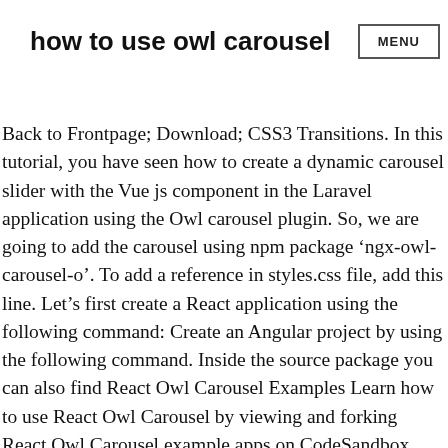how to use owl carousel  MENU
Back to Frontpage; Download; CSS3 Transitions. In this tutorial, you have seen how to create a dynamic carousel slider with the Vue js component in the Laravel application using the Owl carousel plugin. So, we are going to add the carousel using npm package ‘ngx-owl-carousel-o’. To add a reference in styles.css file, add this line. Let’s first create a React application using the following command: Create an Angular project by using the following command. Inside the source package you can also find React Owl Carousel Examples Learn how to use React Owl Carousel by viewing and forking React Owl Carousel example apps on CodeSandbox. Tip: Plugins can be included individually (using Bootstrap’s individual "carousel.js" file),